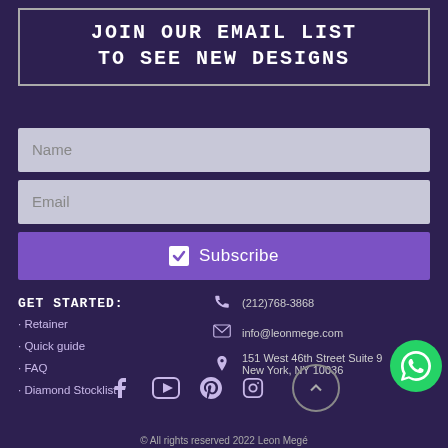JOIN OUR EMAIL LIST TO SEE NEW DESIGNS
Name
Email
Subscribe
GET STARTED:
· Retainer
· Quick guide
· FAQ
· Diamond Stocklist
(212)768-3868
info@leonmege.com
151 West 46th Street Suite 9
New York, NY 10036
[Figure (infographic): Social media icons: Facebook, YouTube, Pinterest, Instagram]
© All rights reserved 2022 Leon Megé